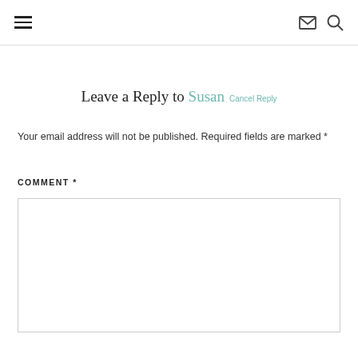☰  ✉ 🔍
Leave a Reply to Susan Cancel Reply
Your email address will not be published. Required fields are marked *
COMMENT *